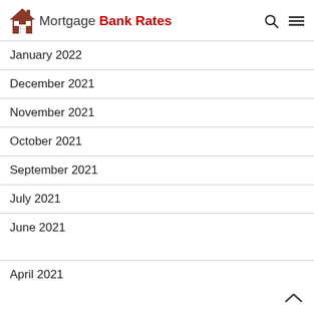Mortgage Bank Rates
January 2022
December 2021
November 2021
October 2021
September 2021
July 2021
June 2021
April 2021